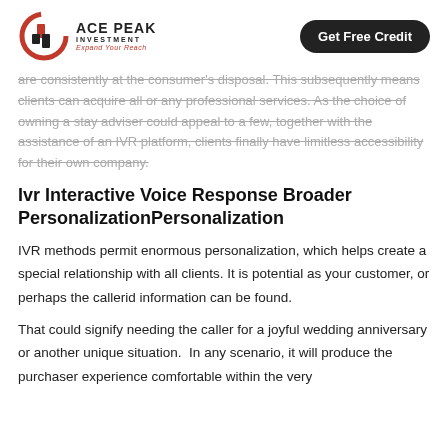ACE PEAK INVESTMENT — Expand Your Reach | Get Free Credit
are consistently at the consumer's disposal. This subsequently means clients can acquire all or any professional services. As the choice of owning a stay adviser could appeal to a few, together with the assistance of an IVR platform, clients finally have limitless accessibility for their own company.
Ivr Interactive Voice Response Broader PersonalizationPersonalization
IVR methods permit enormous personalization, which helps create a special relationship with all clients. It is potential as your customer, or perhaps the callerid information can be found.
That could signify needing the caller for a joyful wedding anniversary or another unique situation.  In any scenario, it will produce the purchaser experience comfortable within the very